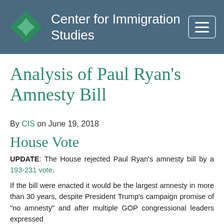Center for Immigration Studies
Analysis of Paul Ryan's Amnesty Bill
By CIS on June 19, 2018
House Vote
UPDATE: The House rejected Paul Ryan's amnesty bill by a 193-231 vote.
If the bill were enacted it would be the largest amnesty in more than 30 years, despite President Trump's campaign promise of "no amnesty" and after multiple GOP congressional leaders expressed